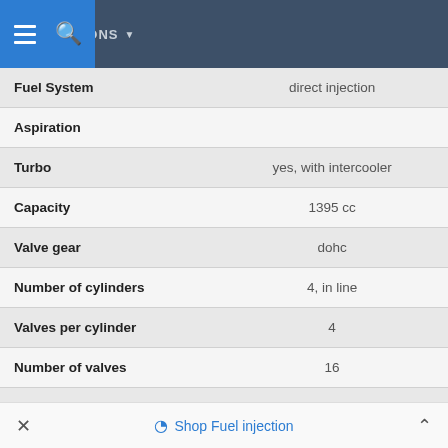SECTIONS
| Specification | Value |
| --- | --- |
| Fuel System | direct injection |
| Aspiration |  |
| Turbo | yes, with intercooler |
| Capacity | 1395 cc |
| Valve gear | dohc |
| Number of cylinders | 4, in line |
| Valves per cylinder | 4 |
| Number of valves | 16 |
| Bore x Stroke | 74,5 x 80,0 mm |
| Compression ratio | 10,0 :1 |
Shop Fuel injection